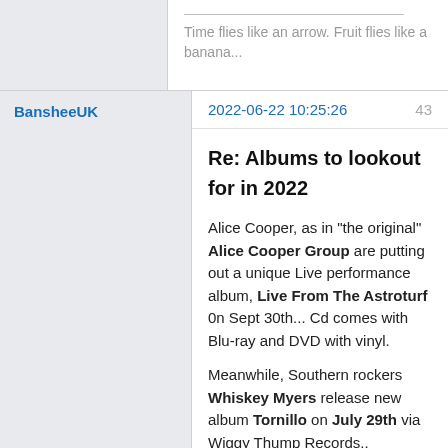Time flies like an arrow. Fruit flies like a banana...
BansheeUK
2022-06-22 10:25:26
43
Re: Albums to lookout for in 2022
Alice Cooper, as in "the original" Alice Cooper Group are putting out a unique Live performance album, Live From The Astroturf 0n Sept 30th... Cd comes with Blu-ray and DVD with vinyl.
Meanwhile, Southern rockers Whiskey Myers release new album Tornillo on July 29th via Wiggy Thump Records..
While this thread is "dedicated" to new releases, one re-issue to shout about is Dio's debut album, Holy Diver which is getting a 4Cd, super-deluxe make over for release on July 8th - 2 days before what would have been Ronnie's 80th birthday.